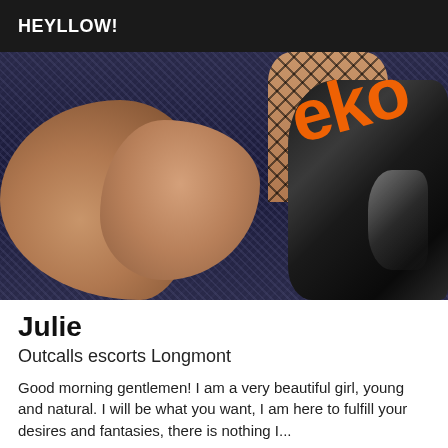HEYLLOW!
[Figure (photo): Close-up photo of a person's legs wearing fishnet stockings and shiny black boots/heels, lying on a carpet. Orange text overlay partially visible showing digits/letters.]
Julie
Outcalls escorts Longmont
Good morning gentlemen! I am a very beautiful girl, young and natural. I will be what you want, I am here to fulfill your desires and fantasies, there is nothing I...